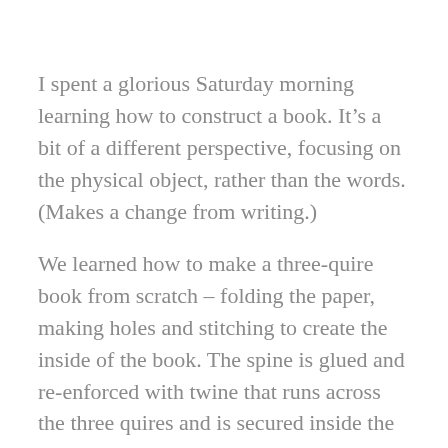I spent a glorious Saturday morning learning how to construct a book. It’s a bit of a different perspective, focusing on the physical object, rather than the words. (Makes a change from writing.)
We learned how to make a three-quire book from scratch – folding the paper, making holes and stitching to create the inside of the book. The spine is glued and re-enforced with twine that runs across the three quires and is secured inside the